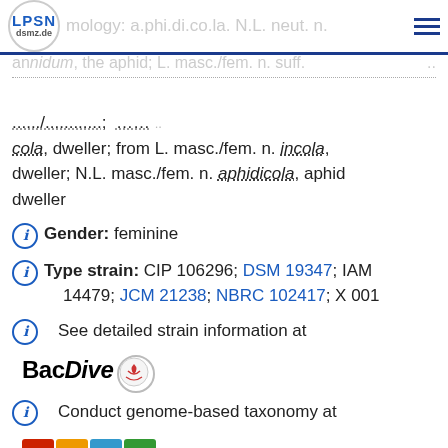LPSN dsmz.de — Etymology: a.phi.di.co.la. N.L. neut. n. aphidum, the aphid; L. masc./fem. n. suff.
cola, dweller; from L. masc./fem. n. incola, dweller; N.L. masc./fem. n. aphidicola, aphid dweller
Gender: feminine
Type strain: CIP 106296; DSM 19347; IAM 14479; JCM 21238; NBRC 102417; X 001
See detailed strain information at BacDive
Conduct genome-based taxonomy at TYGS
16S rRNA gene: AB907777   Analyse
FASTA   ENA   NCBI